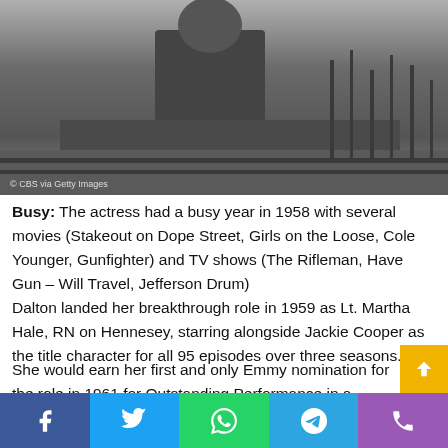[Figure (photo): Black and white photo of an actress outdoors, near a fence and grass. Credit: © CBS via Getty Images]
Busy: The actress had a busy year in 1958 with several movies (Stakeout on Dope Street, Girls on the Loose, Cole Younger, Gunfighter) and TV shows (The Rifleman, Have Gun – Will Travel, Jefferson Drum) Dalton landed her breakthrough role in 1959 as Lt. Martha Hale, RN on Hennesey, starring alongside Jackie Cooper as the title character for all 95 episodes over three seasons.
She would earn her first and only Emmy nomination for the role in 1961 for Outstanding Performance in a Supporting Role by an Actor or Actress in a Series, which
[Figure (other): Social media sharing bar with Facebook, Twitter, WhatsApp, Telegram, and Phone icons]